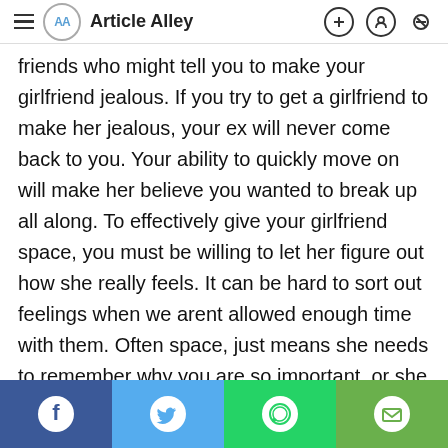Article Alley
friends who might tell you to make your girlfriend jealous. If you try to get a girlfriend to make her jealous, your ex will never come back to you. Your ability to quickly move on will make her believe you wanted to break up all along. To effectively give your girlfriend space, you must be willing to let her figure out how she really feels. It can be hard to sort out feelings when we arent allowed enough time with them. Often space, just means she needs to remember why you are so important, or she needs to reestablish some boundaries in life; it can even means she is feeling out of control and unfortunately you have to bear the brunt. Lastly, you have to realize that her need